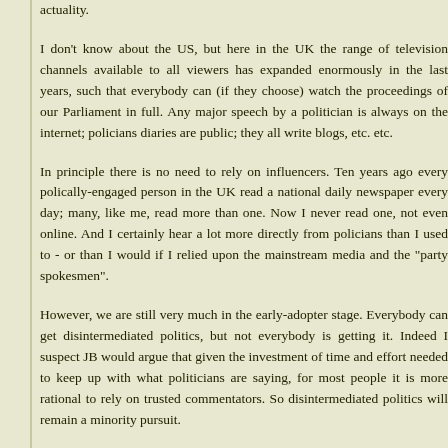actuality.
I don't know about the US, but here in the UK the range of television channels available to all viewers has expanded enormously in the last years, such that everybody can (if they choose) watch the proceedings of our Parliament in full. Any major speech by a politician is always on the internet; policians diaries are public; they all write blogs, etc. etc.
In principle there is no need to rely on influencers. Ten years ago every polically-engaged person in the UK read a national daily newspaper every day; many, like me, read more than one. Now I never read one, not even online. And I certainly hear a lot more directly from politicians than I used to - or than I would if I relied upon the mainstream media and the "party spokesmen".
However, we are still very much in the early-adopter stage. Everybody can get disintermediated politics, but not everybody is getting it. Indeed I suspect JB would argue that given the investment of time and effort needed to keep up with what politicians are saying, for most people it is more rational to rely on trusted commentators. So disintermediated politics will remain a minority pursuit.
Even I (politically-engaged enough to be following closely the politics of another country) still rely on commentators, though I have a wider ch